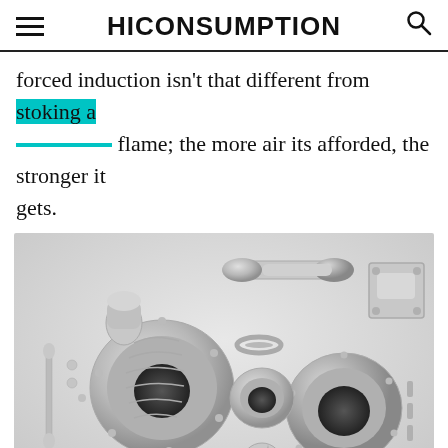HICONSUMPTION
forced induction isn't that different from stoking a flame; the more air its afforded, the stronger it gets.
[Figure (photo): Exploded view of turbocharger components laid out on a light grey background, showing the main turbo housing, compressor wheel, turbine housing, flanges, gaskets, bolts, and various small parts rendered in silver/grey metallic finish.]